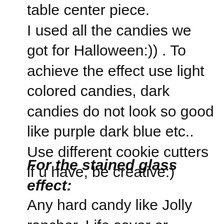table center piece. I used all the candies we got for Halloween:)) . To achieve the effect use light colored candies, dark candies do not look so good like purple dark blue etc.. Use different cookie cutters if u have, be creative:)
For the stained glass effect:
Any hard candy like Jolly rancher, Life saver or Poppins